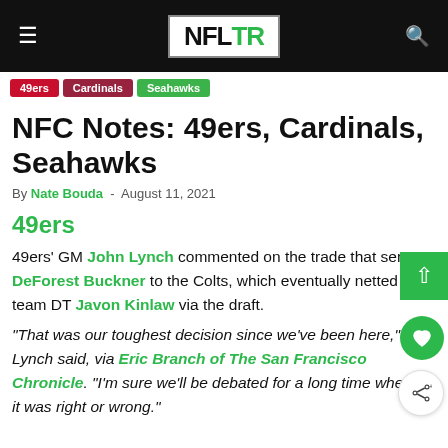NFLTR
49ers
Cardinals
Seahawks
NFC Notes: 49ers, Cardinals, Seahawks
By Nate Bouda - August 11, 2021
49ers
49ers' GM John Lynch commented on the trade that sent DT DeForest Buckner to the Colts, which eventually netted the team DT Javon Kinlaw via the draft.
“That was our toughest decision since we’ve been here,” Lynch said, via Eric Branch of The San Francisco Chronicle. “I’m sure we’ll be debated for a long time whether it was right or wrong.”